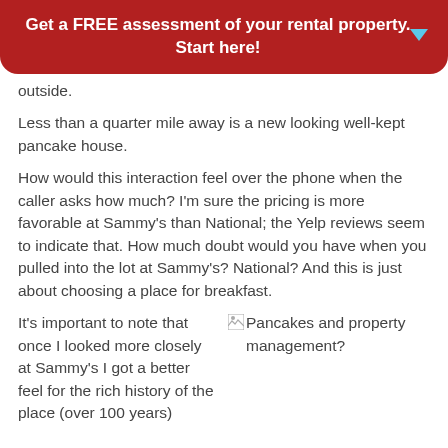Get a FREE assessment of your rental property. Start here!
outside.
Less than a quarter mile away is a new looking well-kept pancake house.
How would this interaction feel over the phone when the caller asks how much? I'm sure the pricing is more favorable at Sammy's than National; the Yelp reviews seem to indicate that. How much doubt would you have when you pulled into the lot at Sammy's? National? And this is just about choosing a place for breakfast.
It's important to note that once I looked more closely at Sammy's I got a better feel for the rich history of the place (over 100 years)
[Figure (photo): Pancakes and property management? - image placeholder with broken image icon]